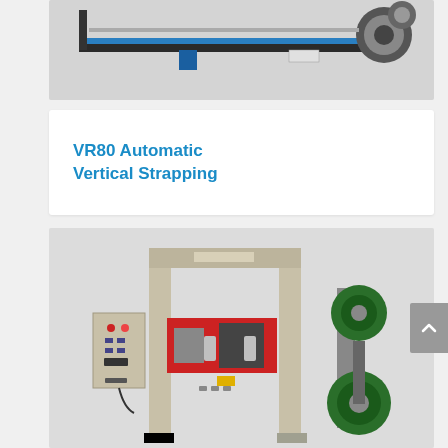[Figure (photo): Industrial horizontal strapping machine with blue rail/track, black frame, and large spool/reel on right side, viewed from the side on a light background]
VR80 Automatic Vertical Strapping
[Figure (photo): VR80 Automatic Vertical Strapping machine: beige/cream colored portal frame with red strapping head mechanism in center, control panel box on left side, green wire spool/reel assembly on right side, on a light grey background]